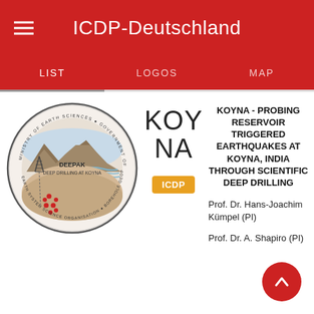ICDP-Deutschland
LIST   LOGOS   MAP
[Figure (logo): DEEPAK - Deep Drilling at Koyna circular organizational logo with geological cross-section diagram, Ministry of Earth Sciences Government of India, Earth System Science Organisation, Borehole Geophysics Research Laboratory]
KOY
NA
ICDP
KOYNA - PROBING RESERVOIR TRIGGERED EARTHQUAKES AT KOYNA, INDIA THROUGH SCIENTIFIC DEEP DRILLING
Prof. Dr. Hans-Joachim Kümpel (PI)
Prof. Dr. A. Shapiro (PI)